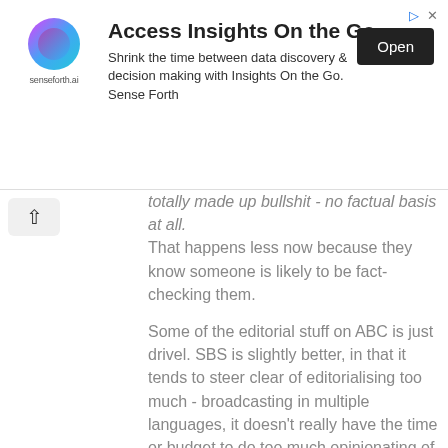[Figure (other): Advertisement banner for senseforth.ai - Access Insights On the Go]
totally made up bullshit - no factual basis at all. That happens less now because they know someone is likely to be fact-checking them.
Some of the editorial stuff on ABC is just drivel. SBS is slightly better, in that it tends to steer clear of editorialising too much - broadcasting in multiple languages, it doesn't really have the time or budget to do too much opinionating of its own.
The 'lifestyle' type 'fun' stuff on ABC is nuts. They had one vet write an article that sleeping with animals is good for you. So I challenged her in writing online on Toxoplasma gondii - I think she didn't know what it was, because it took her a while to respond, then she came back with some lame response about how the dangers of Toxo had been exaggerated. So then another reader